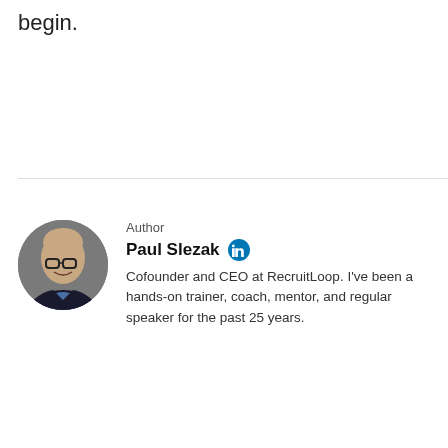begin.
[Figure (photo): Circular profile photo of Paul Slezak, a bald man wearing glasses and a dark jacket]
Author
Paul Slezak
Cofounder and CEO at RecruitLoop. I've been a hands-on trainer, coach, mentor, and regular speaker for the past 25 years.